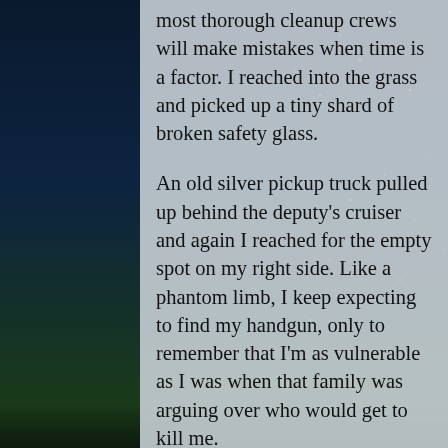most thorough cleanup crews will make mistakes when time is a factor. I reached into the grass and picked up a tiny shard of broken safety glass.
An old silver pickup truck pulled up behind the deputy's cruiser and again I reached for the empty spot on my right side. Like a phantom limb, I keep expecting to find my handgun, only to remember that I'm as vulnerable as I was when that family was arguing over who would get to kill me.
The man stepped out of the truck and came around to face us with a big friendly smile. He was late fifties, with a dirty white beard and a camo jacket. A tucked in white t-shirt showed off a pot belly spilling over the edge of his jeans.